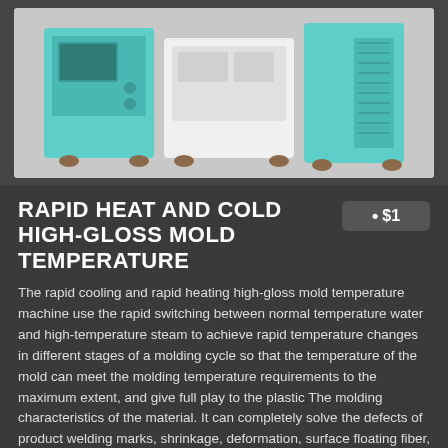[Figure (photo): Product photo of a rapid heat and cold high-gloss mold temperature machine, showing teal/mint colored industrial units with white panels on wheels/casters, against a light background.]
RAPID HEAT AND COLD HIGH-GLOSS MOLD TEMPERATURE
• $1
The rapid cooling and rapid heating high-gloss mold temperature machine use the rapid switching between normal temperature water and high-temperature steam to achieve rapid temperature changes in different stages of a molding cycle so that the temperature of the mold can meet the molding temperature requirements to the maximum extent, and give full play to the plastic The molding characteristics of the material. It can completely solve the defects of product welding marks, shrinkage, deformation, surface floating fiber, and silver streaks. And can achieve the effect of high gloss and spray-free.